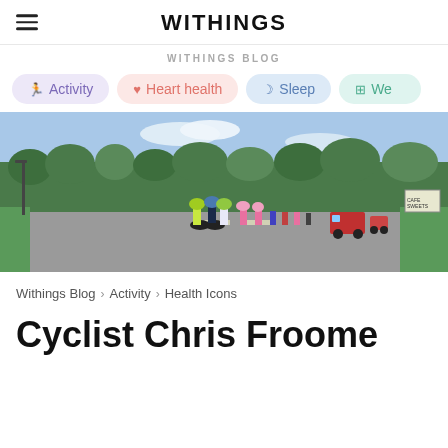WITHINGS
WITHINGS BLOG
Activity
Heart health
Sleep
We...
[Figure (photo): A peloton of cyclists racing on a road through a French village on a sunny day, with support vehicles and spectators visible.]
Withings Blog > Activity > Health Icons
Cyclist Chris Froome